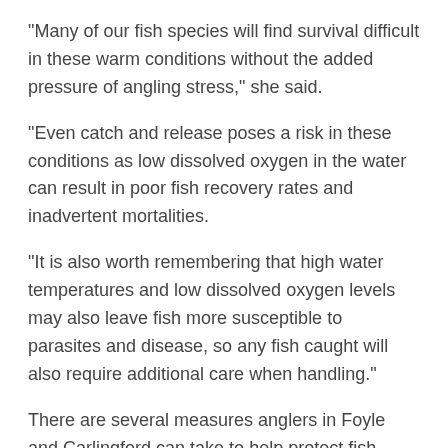“Many of our fish species will find survival difficult in these warm conditions without the added pressure of angling stress,” she said.
“Even catch and release poses a risk in these conditions as low dissolved oxygen in the water can result in poor fish recovery rates and inadvertent mortalities.
“It is also worth remembering that high water temperatures and low dissolved oxygen levels may also leave fish more susceptible to parasites and disease, so any fish caught will also require additional care when handling.”
There are several measures anglers in Foyle and Carlingford can take to help protect fish during the hot weather:
Consider taking the water temperature before you fish and avoid fishing at times when water temperatures are high.